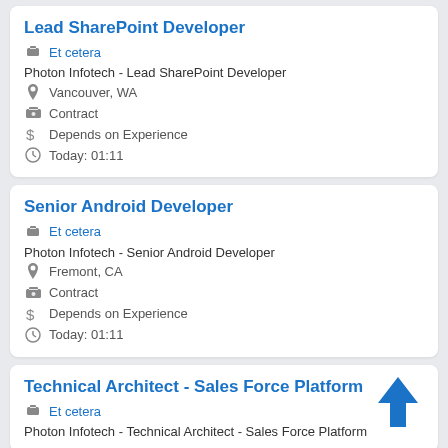Lead SharePoint Developer
Et cetera
Photon Infotech - Lead SharePoint Developer
Vancouver, WA
Contract
Depends on Experience
Today: 01:11
Senior Android Developer
Et cetera
Photon Infotech - Senior Android Developer
Fremont, CA
Contract
Depends on Experience
Today: 01:11
Technical Architect - Sales Force Platform
Et cetera
Photon Infotech - Technical Architect - Sales Force Platform